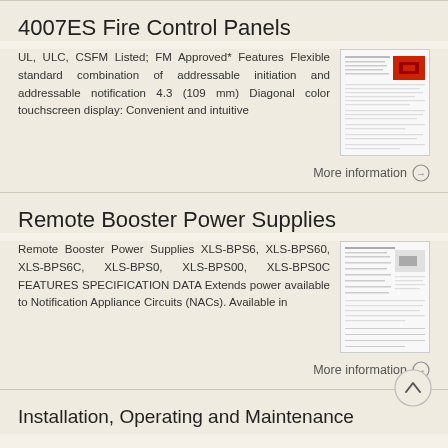4007ES Fire Control Panels
UL, ULC, CSFM Listed; FM Approved* Features Flexible standard combination of addressable initiation and addressable notification 4.3 (109 mm) Diagonal color touchscreen display: Convenient and intuitive
[Figure (photo): Thumbnail image of 4007ES Fire Control Panel document page with red panel photo]
More information →
Remote Booster Power Supplies
Remote Booster Power Supplies XLS-BPS6, XLS-BPS60, XLS-BPS6C, XLS-BPS0, XLS-BPS00, XLS-BPS0C FEATURES SPECIFICATION DATA Extends power available to Notification Appliance Circuits (NACs). Available in
[Figure (photo): Thumbnail image of Remote Booster Power Supplies document page]
More information →
Installation, Operating and Maintenance